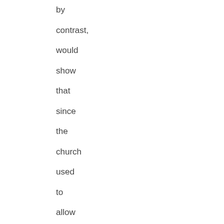by contrast, would show that since the church used to allow female blessings we can never be too sure that God will continue to enforce the current